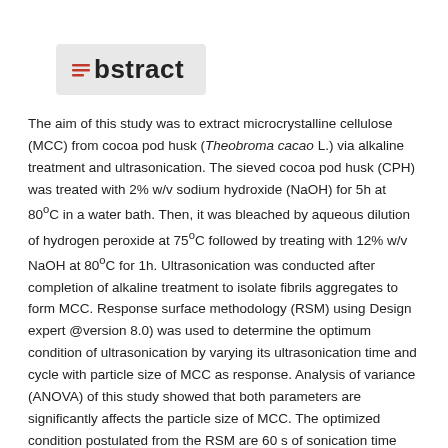Abstract
The aim of this study was to extract microcrystalline cellulose (MCC) from cocoa pod husk (Theobroma cacao L.) via alkaline treatment and ultrasonication. The sieved cocoa pod husk (CPH) was treated with 2% w/v sodium hydroxide (NaOH) for 5h at 80oC in a water bath. Then, it was bleached by aqueous dilution of hydrogen peroxide at 75oC followed by treating with 12% w/v NaOH at 80oC for 1h. Ultrasonication was conducted after completion of alkaline treatment to isolate fibrils aggregates to form MCC. Response surface methodology (RSM) using Design expert @version 8.0) was used to determine the optimum condition of ultrasonication by varying its ultrasonication time and cycle with particle size of MCC as response. Analysis of variance (ANOVA) of this study showed that both parameters are significantly affects the particle size of MCC. The optimized condition postulated from the RSM are 60 s of sonication time with 2 cycles. It was found that the smallest particle size of samples was 286 nm. Results from scanning electron microscope images showed